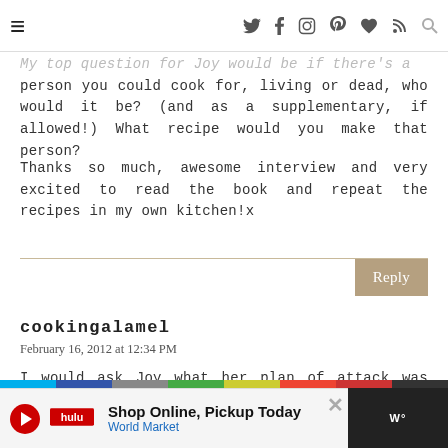☰ [social icons: twitter, facebook, instagram, pinterest, heart, rss, search]
My top question for Joy would be if there's a person you could cook for, living or dead, who would it be? (and as a supplementary, if allowed!) What recipe would you make that person?
Thanks so much, awesome interview and very excited to read the book and repeat the recipes in my own kitchen!x
Reply
cookingalamel
February 16, 2012 at 12:34 PM
I would ask Joy what her plan of attack was for creating recipes while she was testing - really, her